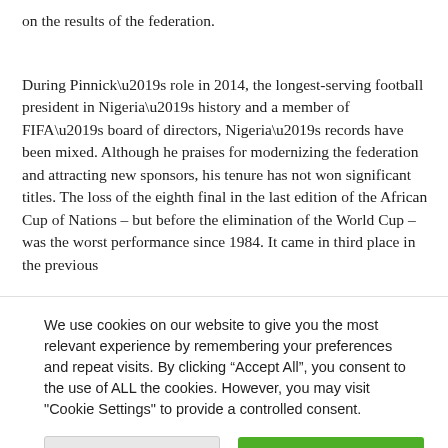on the results of the federation.
During Pinnick’s role in 2014, the longest-serving football president in Nigeria’s history and a member of FIFA’s board of directors, Nigeria’s records have been mixed. Although he praises for modernizing the federation and attracting new sponsors, his tenure has not won significant titles. The loss of the eighth final in the last edition of the African Cup of Nations – but before the elimination of the World Cup – was the worst performance since 1984. It came in third place in the previous
We use cookies on our website to give you the most relevant experience by remembering your preferences and repeat visits. By clicking “Accept All”, you consent to the use of ALL the cookies. However, you may visit "Cookie Settings" to provide a controlled consent.
Cookie Settings    Accept All